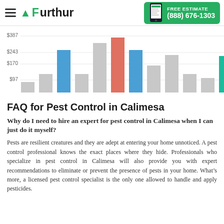Furthur — FREE ESTIMATE (888) 676-1303
[Figure (bar-chart): Pest control cost comparison chart]
FAQ for Pest Control in Calimesa
Why do I need to hire an expert for pest control in Calimesa when I can just do it myself?
Pests are resilient creatures and they are adept at entering your home unnoticed. A pest control professional knows the exact places where they hide. Professionals who specialize in pest control in Calimesa will also provide you with expert recommendations to eliminate or prevent the presence of pests in your home. What’s more, a licensed pest control specialist is the only one allowed to handle and apply pesticides.